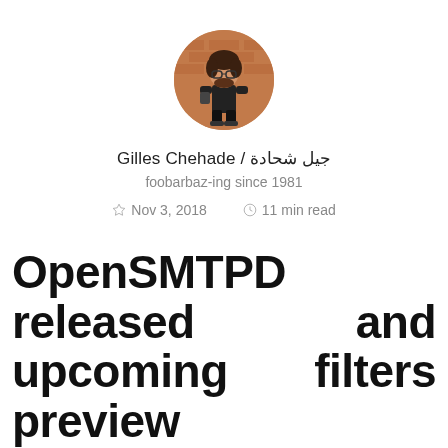[Figure (illustration): Circular avatar showing a cartoon/bitmoji-style illustration of a person with glasses and dark hair standing in front of a brick wall background]
Gilles Chehade / جيل شحادة
foobarbaz-ing since 1981
☆ Nov 3, 2018    🕐 11 min read
OpenSMTPD released and upcoming filters preview